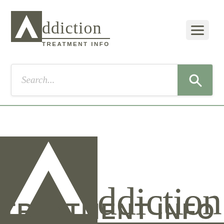[Figure (logo): Addiction Treatment Info logo - small version in navigation header, showing stylized 'A' icon and text]
[Figure (screenshot): Hamburger menu icon button in top right corner]
[Figure (screenshot): Search bar with placeholder text 'Search...' and green search button with magnifying glass icon]
[Figure (logo): Addiction Treatment Info logo - large version below header divider, showing large stylized 'A' icon and large text 'ddiction' and 'TREATMENT INFO']